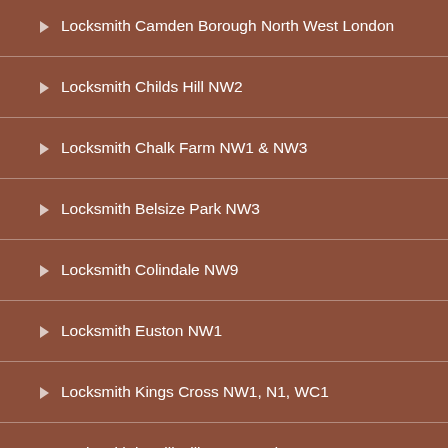Locksmith Camden Borough North West London
Locksmith Childs Hill NW2
Locksmith Chalk Farm NW1 & NW3
Locksmith Belsize Park NW3
Locksmith Colindale NW9
Locksmith Euston NW1
Locksmith Kings Cross NW1, N1, WC1
Locksmith in Mill Hill NW7 London
Locksmith In Kentish Town NW5
Locksmith Gospel Oak